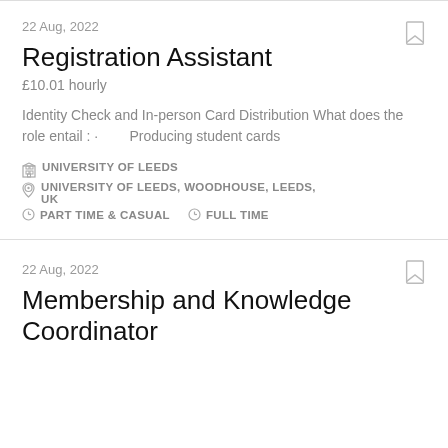22 Aug, 2022
Registration Assistant
£10.01 hourly
Identity Check and In-person Card Distribution What does the role entail : ·        Producing student cards
UNIVERSITY OF LEEDS
UNIVERSITY OF LEEDS, WOODHOUSE, LEEDS, UK
PART TIME & CASUAL   FULL TIME
22 Aug, 2022
Membership and Knowledge Coordinator